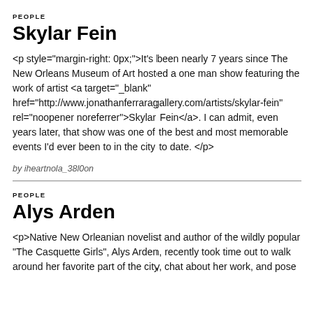PEOPLE
Skylar Fein
<p style="margin-right: 0px;">It's been nearly 7 years since The New Orleans Museum of Art hosted a one man show featuring the work of artist <a target="_blank" href="http://www.jonathanferraragallery.com/artists/skylar-fein" rel="noopener noreferrer">Skylar Fein</a>. I can admit, even years later, that show was one of the best and most memorable events I'd ever been to in the city to date. </p>
by iheartnola_38l0on
PEOPLE
Alys Arden
<p>Native New Orleanian novelist and author of the wildly popular "The Casquette Girls", Alys Arden, recently took time out to walk around her favorite part of the city, chat about her work, and pose